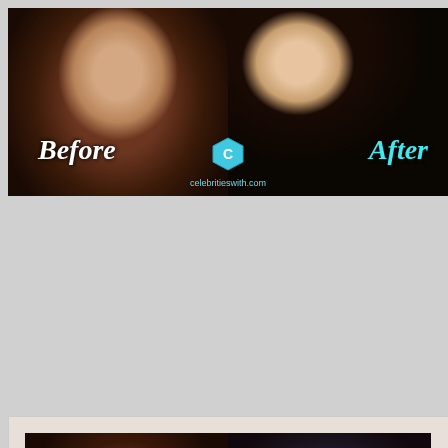[Figure (photo): Before and after comparison photos of a celebrity (Cher). Top image shows two side-by-side photos: left shows younger woman with long curly brown hair (labeled 'Before'), right shows older woman with long black hair smiling (labeled 'After'). Watermark reads 'celebritieswith.com'.]
[Figure (photo): Second before and after comparison of the same celebrity (Cher). Left shows younger woman with voluminous curly auburn hair (labeled 'Before'), right shows older woman wearing a black sequined beret hat with long black hair (labeled 'After'). Watermark reads 'celebritieswith.com'.]